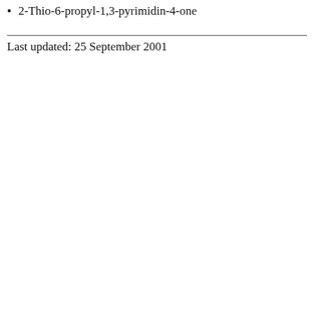2-Thio-6-propyl-1,3-pyrimidin-4-one
Last updated: 25 September 2001